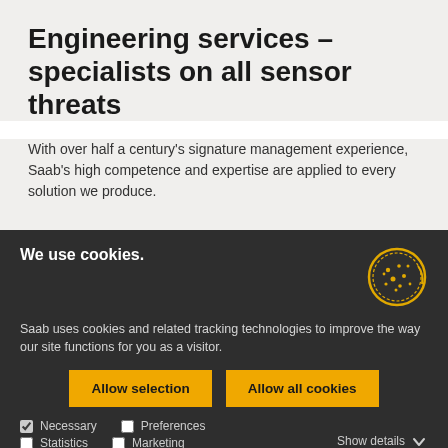Engineering services – specialists on all sensor threats
With over half a century's signature management experience, Saab's high competence and expertise are applied to every solution we produce.
We use cookies.
Saab uses cookies and related tracking technologies to improve the way our site functions for you as a visitor.
Allow selection | Allow all cookies
Necessary  Preferences  Statistics  Marketing  Show details